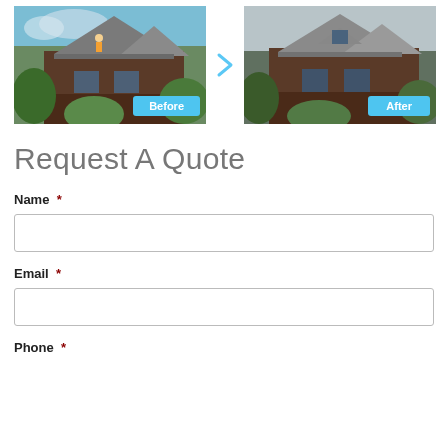[Figure (photo): Before and after comparison photos of a house roof. Left photo shows workers installing solar panels on a brown/wooden house roof with garden in front, labeled 'Before'. Right photo shows the same house after installation, labeled 'After'. A blue arrow chevron points right between the two photos.]
Request A Quote
Name *
Email *
Phone *